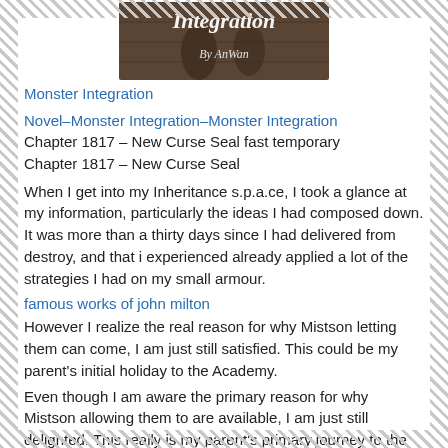[Figure (illustration): Book cover image for 'Monster Integration' by AnWan, showing text 'Integration By AnWan' on a dark background]
Monster Integration
Novel–Monster Integration–Monster Integration
Chapter 1817 – New Curse Seal fast temporary
Chapter 1817 – New Curse Seal
When I get into my Inheritance s.p.a.ce, I took a glance at my information, particularly the ideas I had composed down. It was more than a thirty days since I had delivered from destroy, and that i experienced already applied a lot of the strategies I had on my small armour.
famous works of john milton
However I realize the real reason for why Mistson letting them can come, I am just still satisfied. This could be my parent's initial holiday to the Academy.
Even though I am aware the primary reason for why Mistson allowing them to are available, I am just still delighted. This really is my parent's primary journey to the Academy.
The 'Core' would be the primary of my Inheritance